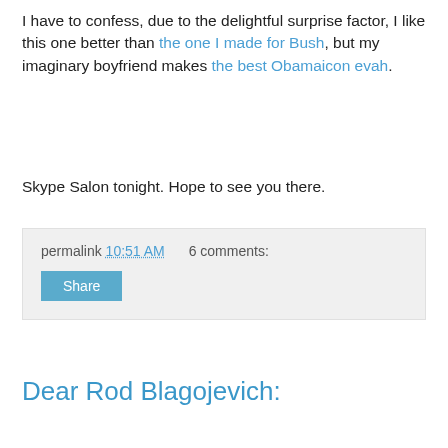I have to confess, due to the delightful surprise factor, I like this one better than the one I made for Bush, but my imaginary boyfriend makes the best Obamaicon evah.
Skype Salon tonight. Hope to see you there.
permalink 10:51 AM   6 comments:
Share
Dear Rod Blagojevich:
"Eighty percent of success is showing up." - Woody Allen
Oh, nevermind.
It appears that he won't even show up for his own impeachment trial -- because there are no cameras, I suppose. Plus, he really, truly, doesn't know his way around Springfield, Illinois.